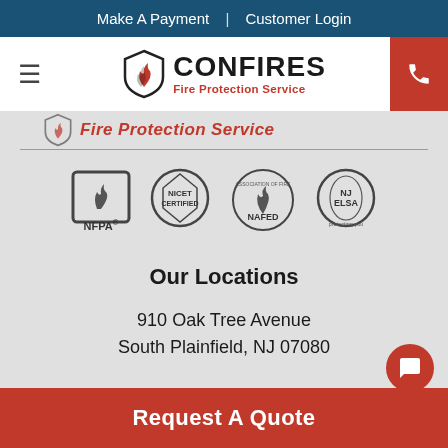Make A Payment | Customer Login
[Figure (logo): CONFIRES Fire Protection Service logo with shield and flame icon, hamburger menu icon on left, phone button on right]
[Figure (logo): Partial CONFIRES Fire Protection Service logo text repeated]
[Figure (logo): Certification logos: NFPA, NICET Certified, NAFED, NJELSA]
Our Locations
910 Oak Tree Avenue
South Plainfield, NJ 07080
Request A Quote